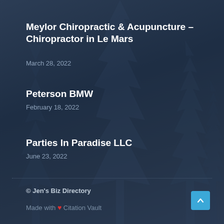Meylor Chiropractic & Acupuncture – Chiropractor in Le Mars
March 28, 2022
Peterson BMW
February 18, 2022
Parties In Paradise LLC
June 23, 2022
© Jen's Biz Directory
Made with ❤ Citation Vault